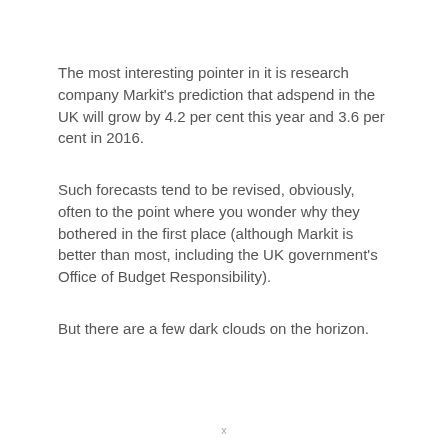The most interesting pointer in it is research company Markit's prediction that adspend in the UK will grow by 4.2 per cent this year and 3.6 per cent in 2016.
Such forecasts tend to be revised, obviously, often to the point where you wonder why they bothered in the first place (although Markit is better than most, including the UK government's Office of Budget Responsibility).
But there are a few dark clouds on the horizon.
x